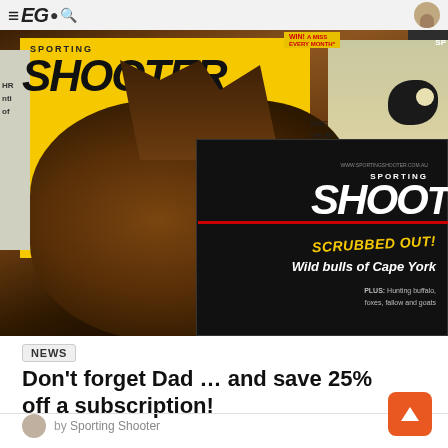EGO (hamburger menu, search icon, avatar)
[Figure (photo): Sporting Shooter magazine covers stacked together, showing deer with antlers in foreground, goat on right side, headline text including 'SCRUBBED OUT! Wild bulls of Cape York' and 'PLUS: Hunting buffalo, foxes, fallow and goats']
NEWS
Don’t forget Dad … and save 25% off a subscription!
by Sporting Shooter